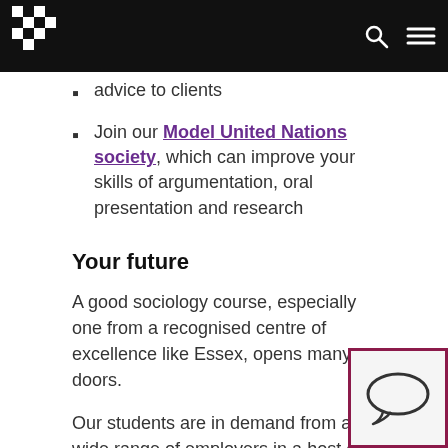University of Essex website header with logo and navigation icons
advice to clients
Join our Model United Nations society, which can improve your skills of argumentation, oral presentation and research
Your future
A good sociology course, especially one from a recognised centre of excellence like Essex, opens many doors.
Our students are in demand from a wide range of employers in a host of occupations, including local and central government, NGOs, social work, market re… project management, fundraising, auditing, market…
[Figure (illustration): Chat/speech bubble icon in a bordered box overlay at bottom right]